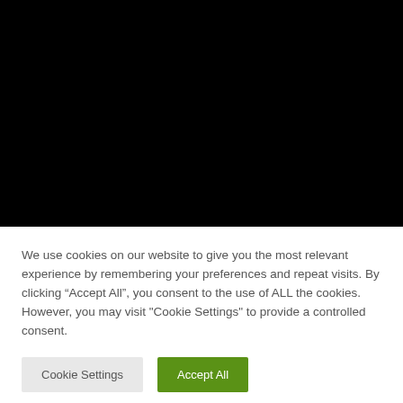[Figure (photo): Black rectangle occupying the top portion of the page, representing a darkened/blacked-out video or image area.]
We use cookies on our website to give you the most relevant experience by remembering your preferences and repeat visits. By clicking “Accept All”, you consent to the use of ALL the cookies. However, you may visit "Cookie Settings" to provide a controlled consent.
Cookie Settings
Accept All